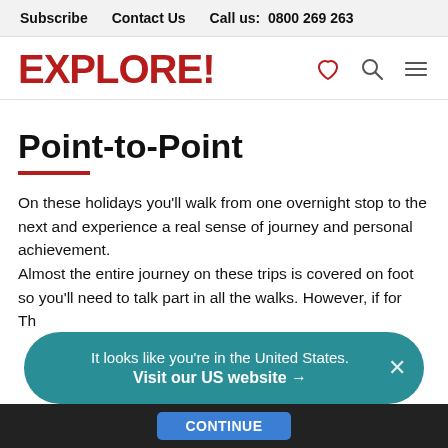Subscribe   Contact Us   Call us:  0800 269 263
EXPLORE!
Point-to-Point
On these holidays you'll walk from one overnight stop to the next and experience a real sense of journey and personal achievement.
Almost the entire journey on these trips is covered on foot so you'll need to talk part in all the walks. However, if for
Th...
It looks like you're in the United States.
Visit our US website →